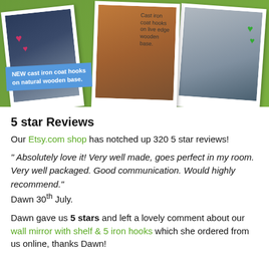[Figure (photo): Photo collage on green background showing polaroid-style photos of cast iron coat hooks on wooden bases and a wall mirror with shelf. One photo has a blue sticky note label reading 'NEW cast iron coat hooks on natural wooden base.' Another has a label 'Cast iron coat hooks on live edge wooden base.' Heart doodles in pink and green on the photos.]
5 star Reviews
Our Etsy.com shop has notched up 320 5 star reviews!
" Absolutely love it! Very well made, goes perfect in my room. Very well packaged. Good communication. Would highly recommend." Dawn 30th July.
Dawn gave us 5 stars and left a lovely comment about our wall mirror with shelf & 5 iron hooks which she ordered from us online, thanks Dawn!